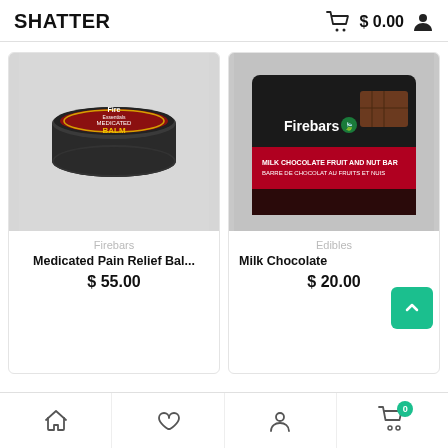SHATTER   $ 0.00
[Figure (photo): Product photo of Fire Essentials Medicated Pain Relief Balm 200mg THC tin, black circular container with red and gold label]
Firebars
Medicated Pain Relief Bal...
$ 55.00
[Figure (photo): Product photo of Firebars Milk Chocolate Fruit and Nut Bar, dark packaging with red and black design]
Edibles
Milk Chocolate
$ 20.00
Home  Favorites  Profile  Cart (0)